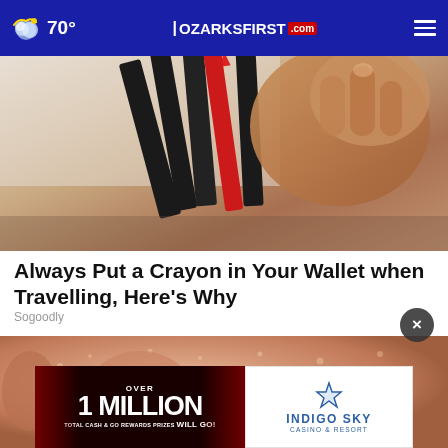70° | OZARKSFIRST.com
[Figure (photo): Close-up photo of crayons, showing colored pencil tips fanned out with a hand holding them, reddish and dark tones visible]
Always Put a Crayon in Your Wallet when Travelling, Here's Why
Sogoodly
[Figure (photo): Extreme close-up of a child's face showing dry, flaky skin on cheek near nose area, with red lips visible at bottom]
[Figure (infographic): Advertisement banner: OVER 1 MILLION TOTAL CASH & GO REWARDS PRIZES WILL GO! with Indigo Sky Casino & Resort logo]